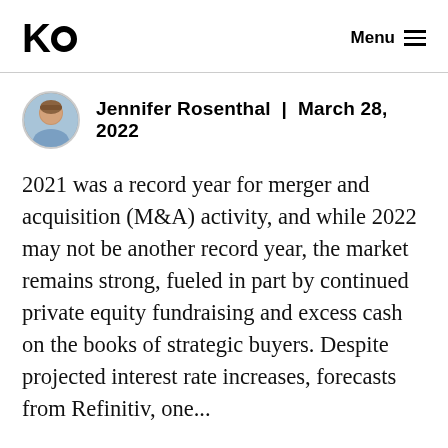KO  Menu
Jennifer Rosenthal | March 28, 2022
2021 was a record year for merger and acquisition (M&A) activity, and while 2022 may not be another record year, the market remains strong, fueled in part by continued private equity fundraising and excess cash on the books of strategic buyers. Despite projected interest rate increases, forecasts from Refinitiv, one...